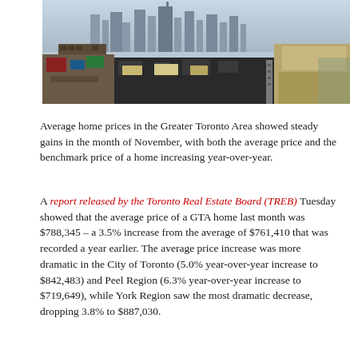[Figure (photo): Aerial/street-level photo of Toronto industrial rooftops with city skyline in background, graffiti-covered walls and flat roofs in foreground]
Average home prices in the Greater Toronto Area showed steady gains in the month of November, with both the average price and the benchmark price of a home increasing year-over-year.
A report released by the Toronto Real Estate Board (TREB) Tuesday showed that the average price of a GTA home last month was $788,345 – a 3.5% increase from the average of $761,410 that was recorded a year earlier. The average price increase was more dramatic in the City of Toronto (5.0% year-over-year increase to $842,483) and Peel Region (6.3% year-over-year increase to $719,649), while York Region saw the most dramatic decrease, dropping 3.8% to $887,030.